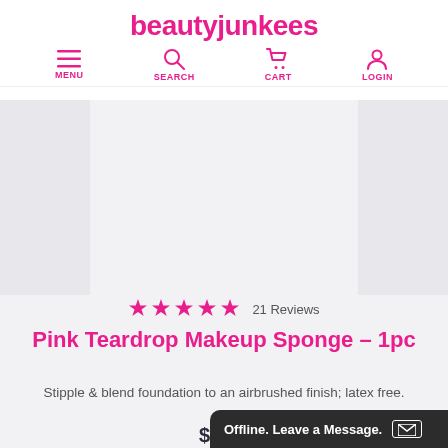beautyjunkees
[Figure (screenshot): Navigation bar with MENU, SEARCH, CART, LOGIN icons in pink]
[Figure (photo): Product image area showing Pink Teardrop Makeup Sponge on light grey background]
★★★★★ 21 Reviews
Pink Teardrop Makeup Sponge – 1pc
Stipple & blend foundation to an airbrushed finish; latex free.
$7.00
Offline. Leave a Message.